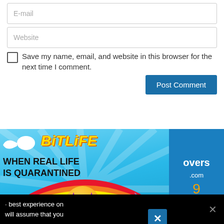E-mail
Website
Save my name, email, and website in this browser for the next time I comment.
Post Comment
[Figure (screenshot): BitLife advertisement: 'WHEN REAL LIFE IS QUARANTINED' with a rainbow, unicorn, masked emoji, sperm icon, and close button overlay]
best experience on will assume that you